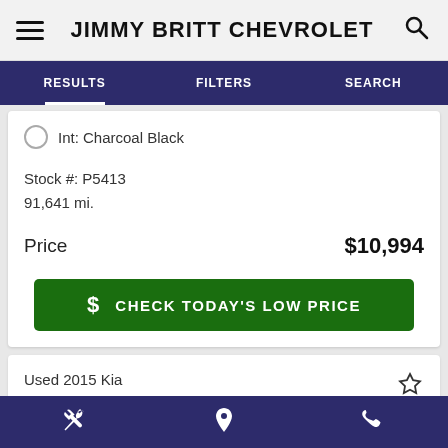JIMMY BRITT CHEVROLET
RESULTS | FILTERS | SEARCH
Int: Charcoal Black
Stock #: P5413
91,641 mi.
Price   $10,994
$ CHECK TODAY'S LOW PRICE
Used 2015 Kia
Optima EX
wrench icon | location icon | phone icon